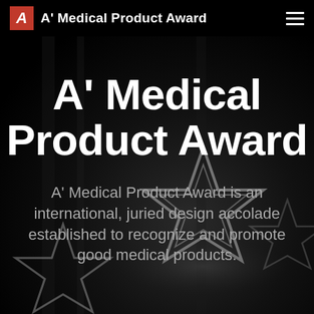A' Medical Product Award
[Figure (photo): Dark monochrome background photo showing metallic star-shaped award trophies on a dark surface, out of focus]
A' Medical Product Award
A' Medical Product Award is an international, juried design accolade established to recognize and promote good medical products.